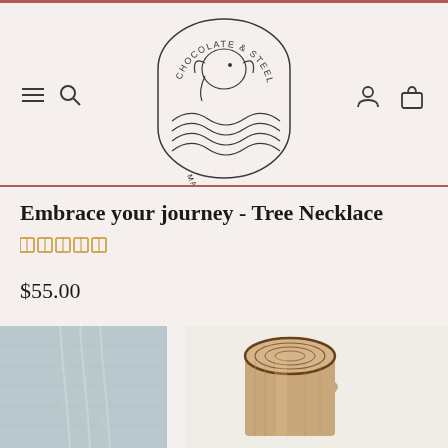[Figure (logo): Chocolate & Steel brand logo - circular arch logo with elephant/flower illustration and text 'MADE IN LA']
Embrace your journey - Tree Necklace
[Figure (other): Five gold star rating icons]
$55.00
[Figure (photo): Close-up of silver chain necklace on light blue/grey textile]
[Figure (photo): Wood log/stump piece on white background]